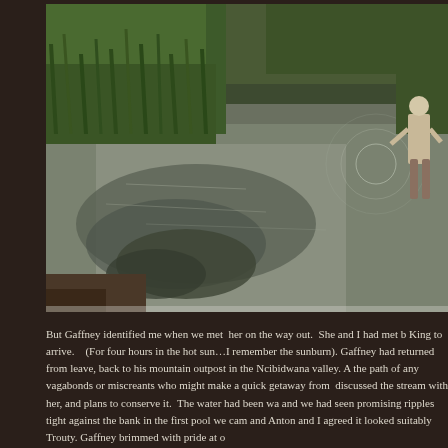[Figure (photo): A person wading in a calm stream or river. The water reflects the surrounding greenery and trees. Dense green vegetation and reeds line the bank on the left. The water surface is still with gentle ripples. A person stands in the water on the right side.]
But Gaffney identified me when we met  her on the way out.  She and I had met b King to arrive.   (For four hours in the hot sun…I remember the sunburn). Gaffney had returned from leave, back to his mountain outpost in the Ncibidwana valley. A the path of any vagabonds or miscreants who might make a quick getaway from  discussed the stream with her, and plans to conserve it.  The water had been wa and we had seen promising ripples tight against the bank in the first pool we cam and Anton and I agreed it looked suitably Trouty. Gaffney brimmed with pride at o